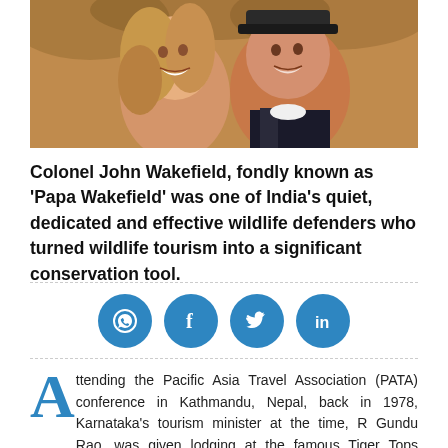[Figure (photo): Two people smiling closely together, photographed outdoors with warm lighting and blurred foliage background.]
Colonel John Wakefield, fondly known as 'Papa Wakefield' was one of India's quiet, dedicated and effective wildlife defenders who turned wildlife tourism into a significant conservation tool.
[Figure (infographic): Four social media sharing icons in blue circles: WhatsApp, Facebook, Twitter, LinkedIn]
Attending the Pacific Asia Travel Association (PATA) conference in Kathmandu, Nepal, back in 1978, Karnataka's tourism minister at the time, R Gundu Rao, was given lodging at the famous Tiger Tops Jungle Lodge at the Royal Chitwan National